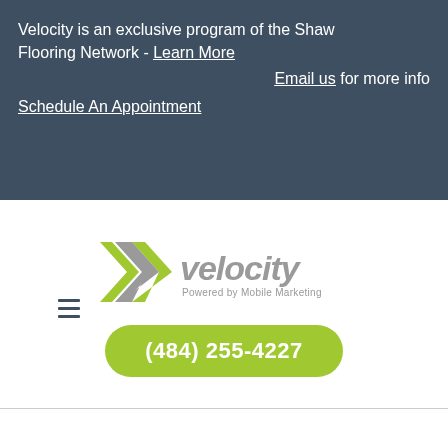Velocity is an exclusive program of the Shaw Flooring Network - Learn More
Email us for more info
Schedule An Appointment
[Figure (logo): Velocity logo with double chevron arrow icon and text 'velocity Powered by Mobile Marketing', with hamburger menu icon to the left]
(484) 255-4227
FAQs